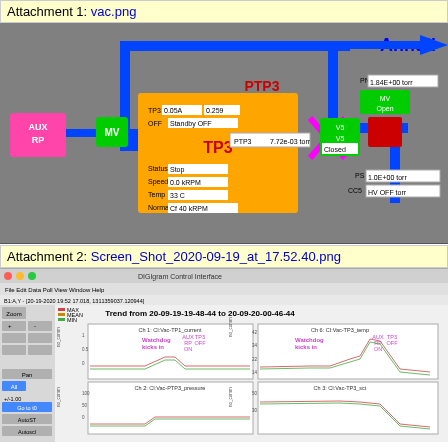Attachment 1: vac.png
[Figure (schematic): Vacuum system schematic showing AUX RP, MV (green valve), TP3 turbopump controller (orange box), PTP3 gauge reading 7.72e-03 torr, V5 valve (Closed), cross symbol (pink X), and connections to Annuli with PN reading 1.84E+00 torr, MV Open (green), and PS/CC5 readings. Blue piping connects all components.]
Attachment 2: Screen_Shot_2020-09-19_at_17.52.40.png
[Figure (screenshot): DIGIgram or similar software screenshot showing trend plots from 20-09-19-19-48-44 to 20-09-20-00-46-44. Four channel plots: Ch 1 CI:Vac-TP1_current, Ch 6 CI:Vac-TP3_temp, Ch 2 CI:Vac-PTP3_pressure, Ch 3 CI:Vac-TP3_sct. Annotations show AUX RP ON, TP3 OFF, Watchdog kicks in labels.]